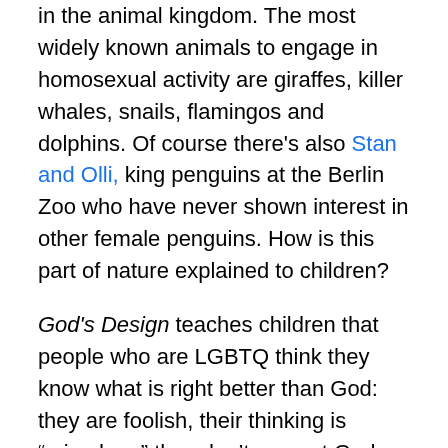in the animal kingdom. The most widely known animals to engage in homosexual activity are giraffes, killer whales, snails, flamingos and dolphins. Of course there's also Stan and Olli, king penguins at the Berlin Zoo who have never shown interest in other female penguins. How is this part of nature explained to children?
God's Design teaches children that people who are LGBTQ think they know what is right better than God: they are foolish, their thinking is “mixed up,” they don’t respect God, and they are sinful and sad. It is fully understandable when people do not agree or understand homosexuality. The problem is in the language of “you are foolish” or “you cannot change what God created” or “you are sinful.” This language causes too much heartache in the LGBTQ community as well as resulting suicide, shunning and homelessness.